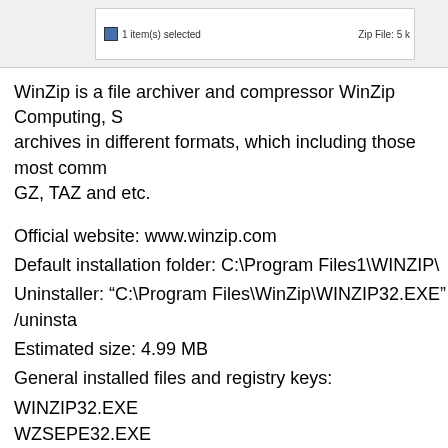[Figure (screenshot): Windows Explorer status bar showing '1 item(s) selected' and 'Zip File: 5...' text]
WinZip is a file archiver and compressor WinZip Computing, S... archives in different formats, which including those most comm... GZ, TAZ and etc.
Official website: www.winzip.com
Default installation folder: C:\Program Files1\WINZIP\
Uninstaller: "C:\Program Files\WinZip\WINZIP32.EXE" /uninsta...
Estimated size: 4.99 MB
General installed files and registry keys:
WINZIP32.EXE
WZSEPE32.EXE
WZ32.DLL
WZSHLSTB.DLL
WZSHLEX1.DLL
WZZPMAIL.DLL